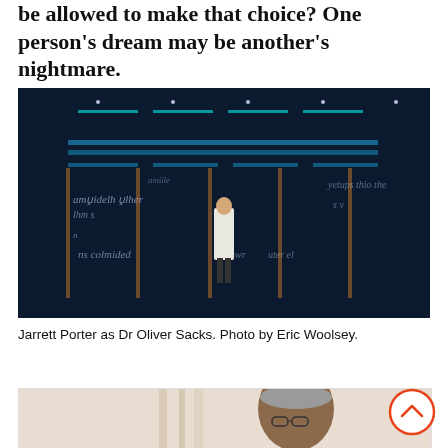be allowed to make that choice? One person's dream may be another's nightmare.
[Figure (photo): Theatre stage photo: Jarrett Porter as Dr Oliver Sacks, standing centre stage in a white coat, surrounded by large glass panels with writing on them, lit in blue light.]
Jarrett Porter as Dr Oliver Sacks. Photo by Eric Woolsey.
[Figure (photo): Portrait photo of a man with glasses and grey hair, partially visible at the bottom of the page inside a bordered box.]